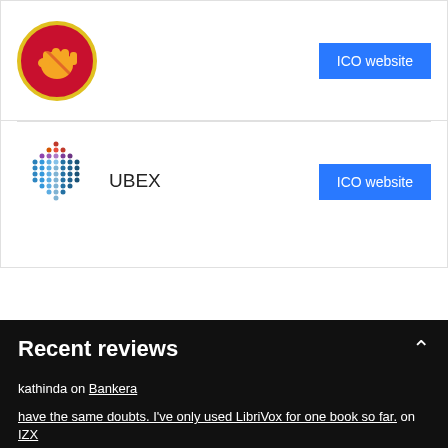[Figure (logo): Red/yellow circular logo with a fist, first ICO entry]
[Figure (logo): UBEX logo with dotted blue/purple dot-grid forming a shield shape]
UBEX
Recent reviews
kathinda on Bankera
have the same doubts. I've only used LibriVox for one book so far. on IZX
ejderhanı nasıl eğitirsin on HumbyI